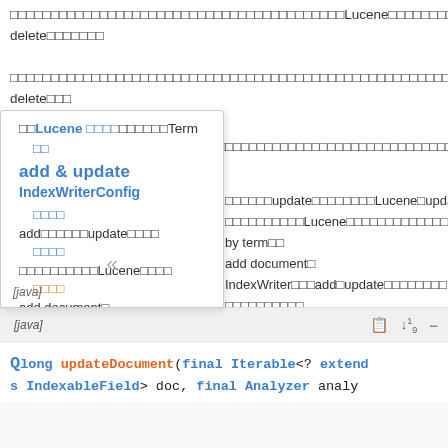□□□□□□□□□□□□□□□□□□□□□□□□□□□□□□□□□□□□□□□□□Lucene□□□□□□□□□□□□□□□□□□□□□□□ delete□□□□□□□
□□□□□□□□□□□□□□□□□□□□□□□□□□□□□□□□□□□□□□□□□□□□□□□□□□□□□□□□□□□□□□□□□□□□update□ delete□□□
□□Lucene □□□□□□□□□Term□□□□□□□□□□□□□□□□□□□□□□□□□□□□□□□□□□□□□□□□□□□□
□□
add & update
IndexWriterConfig
□□□□
add□□□□□□update□□□□□□□□Lucene□update□□□□update□□□□□
□□□□
□□□□□□□□□□Lucene□□□□□□□□□□□□□□□□□□□□□□□delete by term□□
□□□□
add document□
□□
IndexWriter□□□add□update□□□□□□□□DocumentsWriter□udpate□
□□□□
□□□□□□□□□□
[Figure (screenshot): Code block showing Java method: long updateDocument(final Iterable<? extends IndexableField> doc, final Analyzer analy]
[java]
long updateDocument(final Iterable<? extends IndexableField> doc, final Analyzer analy